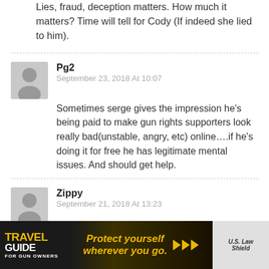Lies, fraud, deception matters. How much it matters? Time will tell for Cody (If indeed she lied to him).
Pg2
September 23, 2018 At 10:07
Sometimes serge gives the impression he's being paid to make gun rights supporters look really bad(unstable, angry, etc) online….if he's doing it for free he has legitimate mental issues. And should get help.
Zippy
September 21, 2018 At 13:23
consented to
didn't exist
[Figure (infographic): Travel Guide for Gun Owners advertisement banner: 'Protect yourself wherever you go.' with US LawShield branding and play arrows]